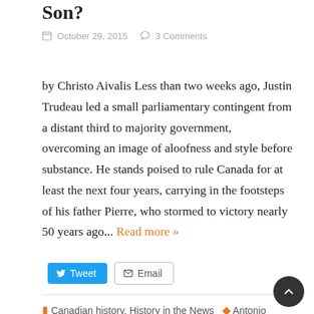Son?
October 29, 2015  3 Comments
by Christo Aivalis Less than two weeks ago, Justin Trudeau led a small parliamentary contingent from a distant third to majority government, overcoming an image of aloofness and style before substance. He stands poised to rule Canada for at least the next four years, carrying in the footsteps of his father Pierre, who stormed to victory nearly 50 years ago... Read more »
Tweet  Email
Canadian history, History in the News  Antonio Gramsci, Just Society, Justin Trudeau, Passive Revoluti Pierre Elliott Trudeau, the Liberal Party of Canada, the